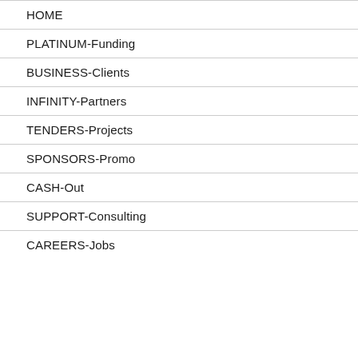HOME
PLATINUM-Funding
BUSINESS-Clients
INFINITY-Partners
TENDERS-Projects
SPONSORS-Promo
CASH-Out
SUPPORT-Consulting
CAREERS-Jobs